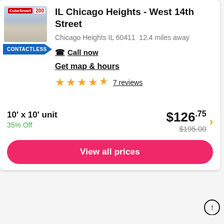[Figure (photo): Store front photo of a retail/storage facility with red signage]
CONTACTLESS
IL Chicago Heights - West 14th Street
Chicago Heights IL 60411  12.4 miles away
Call now
Get map & hours
7 reviews
10' x 10' unit
35% Off
$126.75
$195.00
View all prices
TOP